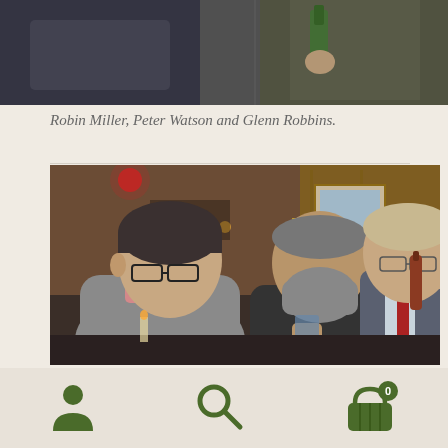[Figure (photo): Partial photo of people at a social event, cropped showing torsos and hands, one holding a green bottle]
Robin Miller, Peter Watson and Glenn Robbins.
[Figure (photo): Three men conversing at an indoor social gathering/bar setting. Left man with dark hair and glasses wearing grey sweater, middle man with grey beard wearing black, right man in grey suit with red tie.]
[Figure (infographic): Footer navigation bar with three olive/dark green icons: person/user icon on left, magnifying glass/search icon in center, shopping basket with '0' badge on right]